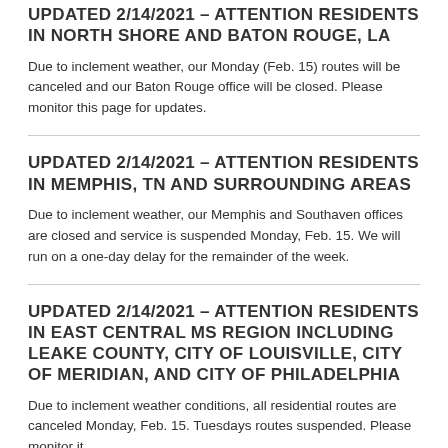UPDATED 2/14/2021 – ATTENTION RESIDENTS IN NORTH SHORE AND BATON ROUGE, LA
Due to inclement weather, our Monday (Feb. 15) routes will be canceled and our Baton Rouge office will be closed. Please monitor this page for updates.
UPDATED 2/14/2021 – ATTENTION RESIDENTS IN MEMPHIS, TN AND SURROUNDING AREAS
Due to inclement weather, our Memphis and Southaven offices are closed and service is suspended Monday, Feb. 15. We will run on a one-day delay for the remainder of the week.
UPDATED 2/14/2021 – ATTENTION RESIDENTS IN EAST CENTRAL MS REGION INCLUDING LEAKE COUNTY, CITY OF LOUISVILLE, CITY OF MERIDIAN, AND CITY OF PHILADELPHIA
Due to inclement weather conditions, all residential routes are canceled Monday, Feb. 15. Tuesdays routes suspended. Please monitor it